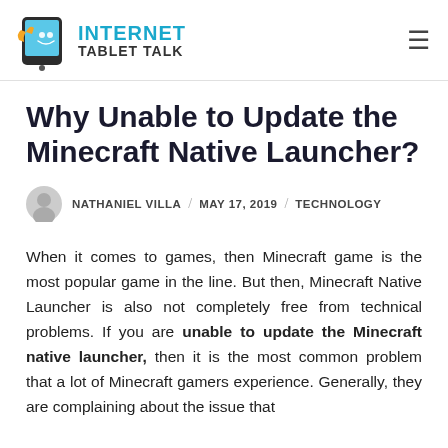INTERNET TABLET TALK
Why Unable to Update the Minecraft Native Launcher?
NATHANIEL VILLA / MAY 17, 2019 / TECHNOLOGY
When it comes to games, then Minecraft game is the most popular game in the line. But then, Minecraft Native Launcher is also not completely free from technical problems. If you are unable to update the Minecraft native launcher, then it is the most common problem that a lot of Minecraft gamers experience. Generally, they are complaining about the issue that